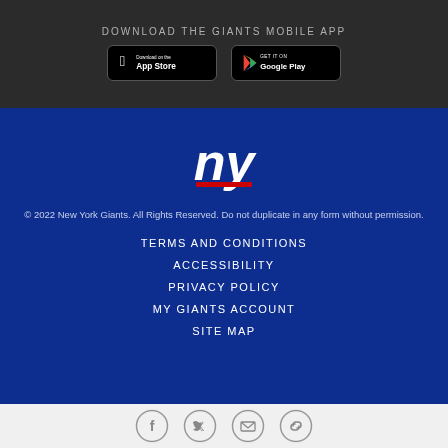DOWNLOAD THE GIANTS MOBILE APP
[Figure (logo): App Store download badge (black rounded rectangle with Apple logo and 'Download on the App Store' text)]
[Figure (logo): Google Play download badge (black rounded rectangle with Google Play logo and 'GET IT ON Google Play' text)]
[Figure (logo): New York Giants ny logo in white with red accent on blue background]
© 2022 New York Giants. All Rights Reserved. Do not duplicate in any form without permission.
TERMS AND CONDITIONS
ACCESSIBILITY
PRIVACY POLICY
MY GIANTS ACCOUNT
SITE MAP
[Figure (infographic): Social media icons row: Facebook, Twitter, Email, Link/chain icon — each in a grey circle outline]